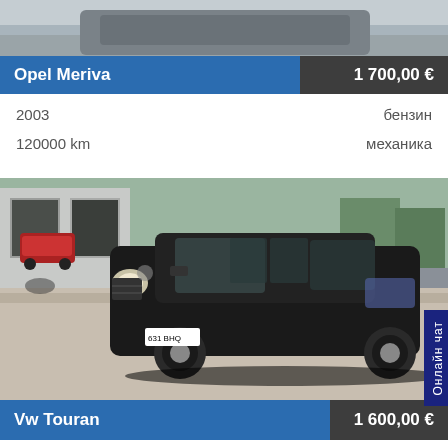[Figure (photo): Top portion of a car listing photo (cropped, partial view of a vehicle)]
Opel Meriva   1 700,00 €
2003   бензин
120000 km   механика
[Figure (photo): Black Volkswagen Touran parked in an outdoor lot near a garage. Photo shows the front-left side of the vehicle.]
Vw Touran   1 600,00 €
2003   дизель
260000 km   механика